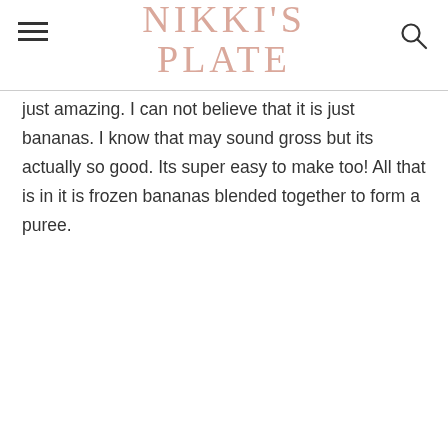NIKKI'S PLATE
just amazing. I can not believe that it is just bananas. I know that may sound gross but its actually so good. Its super easy to make too! All that is in it is frozen bananas blended together to form a puree.